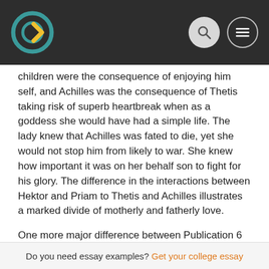[Figure (logo): Website header with logo (teal/yellow circular icon), search icon, and hamburger menu on dark background]
children were the consequence of enjoying him self, and Achilles was the consequence of Thetis taking risk of superb heartbreak when as a goddess she would have had a simple life. The lady knew that Achilles was fated to die, yet she would not stop him from likely to war. She knew how important it was on her behalf son to fight for his glory. The difference in the interactions between Hektor and Priam to Thetis and Achilles illustrates a marked divide of motherly and fatherly love.
One more major difference between Publication 6 and Book twenty four is the family interactions with the gods. In Book six, even though the gods are friends and family, they disagreed about the war in Troy. And in Book twenty-four the relatives ties between your gods will be shown. Apollo talks to the gods and asks them to give Hektor's body back to his daddy. He says that Hektor is definitely good to the gods but Achilles under no circumstances had proper rights in his cardiovascular. He disrespects Hektor's dead body by
Do you need essay examples? Get your college essay